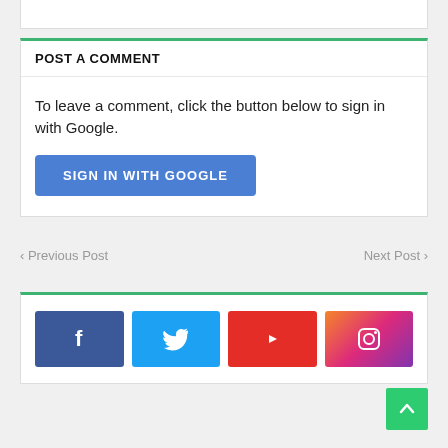POST A COMMENT
To leave a comment, click the button below to sign in with Google.
SIGN IN WITH GOOGLE
‹ Previous Post
Next Post ›
[Figure (infographic): Social media buttons: Facebook (blue), Twitter (light blue), YouTube (red), Instagram (gradient pink/purple)]